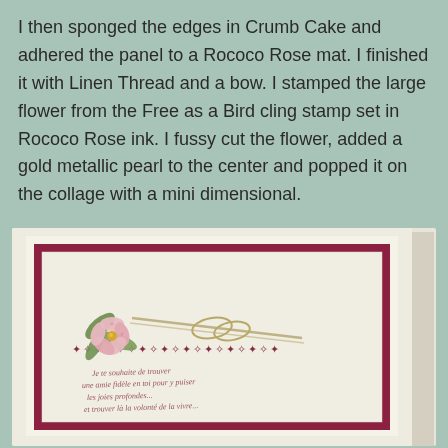I then sponged the edges in Crumb Cake and adhered the panel to a Rococo Rose mat. I finished it with Linen Thread and a bow. I stamped the large flower from the Free as a Bird cling stamp set in Rococo Rose ink. I fussy cut the flower, added a gold metallic pearl to the center and popped it on the collage with a mini dimensional.
[Figure (photo): A handmade greeting card with a cream/ivory base, a deep rose/burgundy mat layer, an embossed white panel, a pink flower with green leaves and gold center pearl, linen twine bow, and stamped French script text with a decorative border stamp in burgundy ink.]